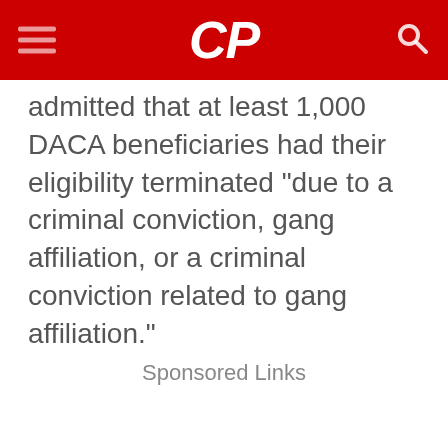CP
admitted that at least 1,000 DACA beneficiaries had their eligibility terminated “due to a criminal conviction, gang affiliation, or a criminal conviction related to gang affiliation.”
Sponsored Links